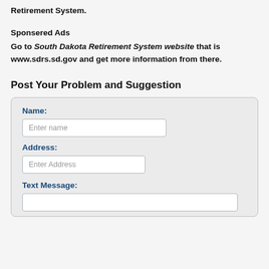Retirement System.
Sponsered Ads
Go to South Dakota Retirement System website that is www.sdrs.sd.gov and get more information from there.
Post Your Problem and Suggestion
[Figure (other): Web form with fields: Name (text input 'Enter name'), Address (text input 'Enter Address'), Text Message (textarea)]